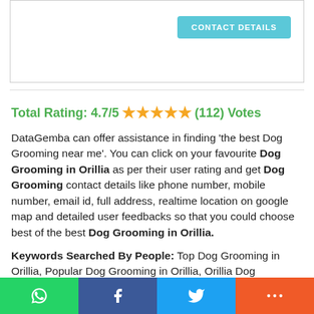[Figure (screenshot): White box with CONTACT DETAILS button in teal at top right]
Total Rating: 4.7/5 ★★★★★ (112) Votes
DataGemba can offer assistance in finding 'the best Dog Grooming near me'. You can click on your favourite Dog Grooming in Orillia as per their user rating and get Dog Grooming contact details like phone number, mobile number, email id, full address, realtime location on google map and detailed user feedbacks so that you could choose best of the best Dog Grooming in Orillia.
Keywords Searched By People: Top Dog Grooming in Orillia, Popular Dog Grooming in Orillia, Orillia Dog Grooming Database Free Download, Orillia Dog Grooming Phone Number Download in xls, Orillia Dog Grooming Directory, Orillia Dog Grooming email list free
[Figure (screenshot): Social share bar at bottom with WhatsApp, Facebook, Twitter, and More buttons]